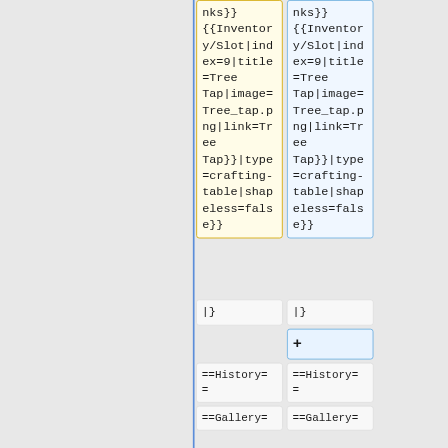[Figure (screenshot): A diff/comparison view showing two columns of wiki template code. Both columns show similar content: a continuation of template code ending with '{{Inventory/Slot|index=9|title=Tree Tap|image=Tree_tap.png|link=Tree Tap}}|type=crafting-table|shapeless=false}}'. Below that, both columns show '|}'. The right column has a '+' cell (highlighted in blue). Both columns then show '==History==' and '==Gallery==' cells. The left column has a yellow border highlight on the top cell; the right column has a blue border highlight.]